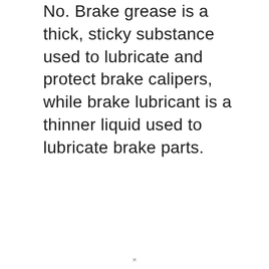No. Brake grease is a thick, sticky substance used to lubricate and protect brake calipers, while brake lubricant is a thinner liquid used to lubricate brake parts.
×